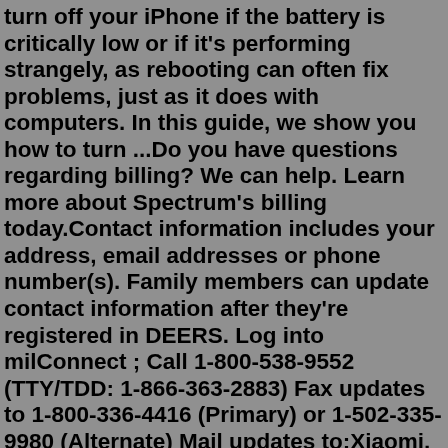Move the slider to turn off if none. It's a good idea to turn off your iPhone if the battery is critically low or if it's performing strangely, as rebooting can often fix problems, just as it does with computers. In this guide, we show you how to turn ...Do you have questions regarding billing? We can help. Learn more about Spectrum's billing today.Contact information includes your address, email addresses or phone number(s). Family members can update contact information after they're registered in DEERS. Log into milConnect ; Call 1-800-538-9552 (TTY/TDD: 1-866-363-2883) Fax updates to 1-800-336-4416 (Primary) or 1-502-335-9980 (Alternate) Mail updates to:Xiaomi, Poco & Redmi Phone Automatically Switch Off Problem Solved | Mobile Automatic Restart 2022 ||Mi/ Redmi/ Poco Phone Restarting Automatically | Automat... 1.Answer/End callsGently press the multi-function button to answer/ end calls.2.Reject a callPress and hold the button for 1 second to reject a call.3.Play/Pause MusicPress the multi-function button to play/pause the music while